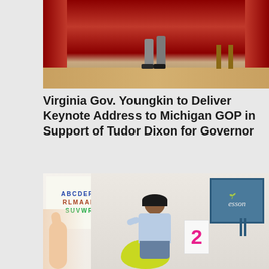[Figure (photo): Photo of a person on a stage with red curtains in the background, lower body and legs visible, stage platform visible at bottom]
Virginia Gov. Youngkin to Deliver Keynote Address to Michigan GOP in Support of Tudor Dixon for Governor
[Figure (photo): Classroom scene with a female teacher sitting on a yellow bean bag chair, holding up a number 2 card, with alphabet chart on wall behind her, a chalkboard reading 'esson' (lesson) to her right, and a child raising their hand in foreground]